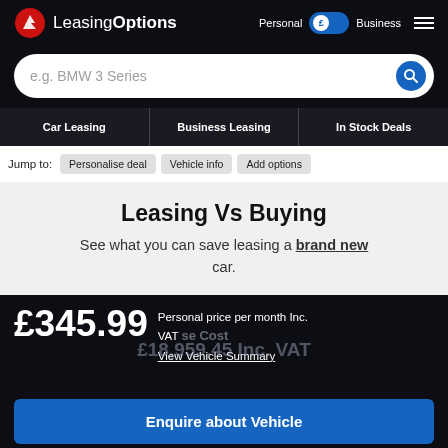LeasingOptions | Personal | Business
e.g. BMW 3 Series
Car Leasing | Business Leasing | In Stock Deals
Jump to: Personalise deal | Vehicle info | Add options
Leasing Vs Buying
See what you can save leasing a brand new car.
£345.99 Personal price per month Inc. VAT View Vehicle Summary
£18,959.45 Inc. VAT
Enquire about Vehicle
Call 0161 826 9716 or Request a Callback